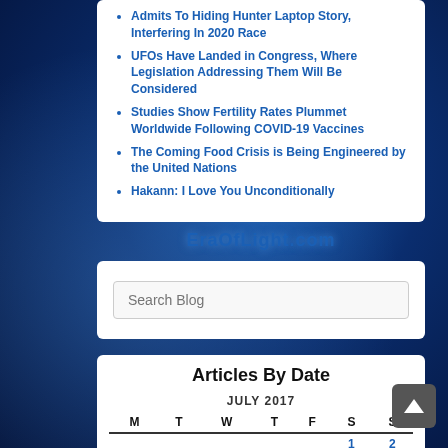Admits To Hiding Hunter Laptop Story, Interfering In 2020 Race
UFOs Have Landed in Congress, Where Legislation Addressing Them Will Be Considered
Studies Show Fertility Rates Plummet Worldwide Following COVID-19 Vaccines
The Coming Food Crisis is Being Engineered by the United Nations
Hakann: I Love You Unconditionally
EraOfLight.com
Search Blog
Articles By Date
| M | T | W | T | F | S | S |
| --- | --- | --- | --- | --- | --- | --- |
|  |  |  |  |  | 1 | 2 |
| 3 | 4 | 5 | 6 | 7 | 8 | 9 |